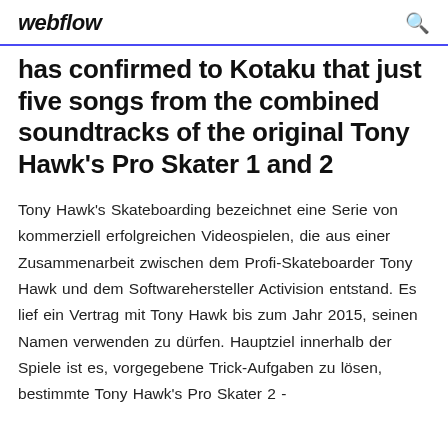webflow
has confirmed to Kotaku that just five songs from the combined soundtracks of the original Tony Hawk's Pro Skater 1 and 2
Tony Hawk's Skateboarding bezeichnet eine Serie von kommerziell erfolgreichen Videospielen, die aus einer Zusammenarbeit zwischen dem Profi-Skateboarder Tony Hawk und dem Softwarehersteller Activision entstand. Es lief ein Vertrag mit Tony Hawk bis zum Jahr 2015, seinen Namen verwenden zu dürfen. Hauptziel innerhalb der Spiele ist es, vorgegebene Trick-Aufgaben zu lösen, bestimmte Tony Hawk's Pro Skater 2 -